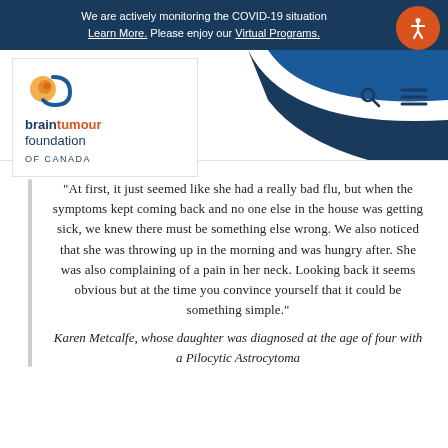We are actively monitoring the COVID-19 situation. Learn More. Please enjoy our Virtual Programs.
[Figure (logo): Brain Tumour Foundation of Canada logo with orange spiral and blue text]
“At first, it just seemed like she had a really bad flu, but when the symptoms kept coming back and no one else in the house was getting sick, we knew there must be something else wrong. We also noticed that she was throwing up in the morning and was hungry after. She was also complaining of a pain in her neck. Looking back it seems obvious but at the time you convince yourself that it could be something simple.”
Karen Metcalfe, whose daughter was diagnosed at the age of four with a Pilocytic Astrocytoma